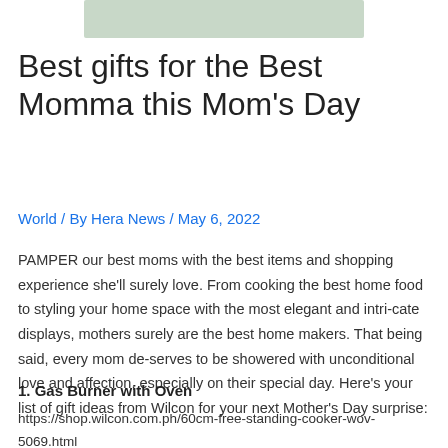[Figure (illustration): Partial image visible at top of page, light green/gray rectangular banner]
Best gifts for the Best Momma this Mom's Day
World / By Hera News / May 6, 2022
PAMPER our best moms with the best items and shopping experience she'll surely love. From cooking the best home food to styling your home space with the most elegant and intri-cate displays, mothers surely are the best home makers. That being said, every mom de-serves to be showered with unconditional love and affection, especially on their special day. Here's your list of gift ideas from Wilcon for your next Mother's Day surprise:
1. Gas Burner with Oven
https://shop.wilcon.com.ph/60cm-free-standing-cooker-wov-5069.html